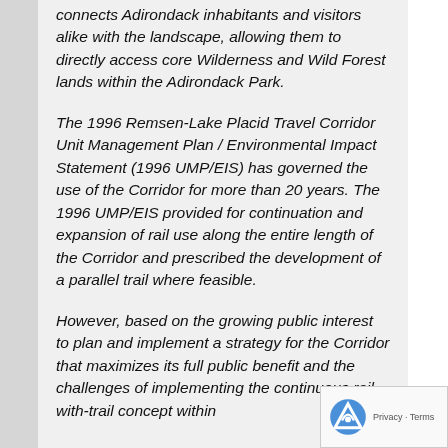connects Adirondack inhabitants and visitors alike with the landscape, allowing them to directly access core Wilderness and Wild Forest lands within the Adirondack Park.
The 1996 Remsen-Lake Placid Travel Corridor Unit Management Plan / Environmental Impact Statement (1996 UMP/EIS) has governed the use of the Corridor for more than 20 years. The 1996 UMP/EIS provided for continuation and expansion of rail use along the entire length of the Corridor and prescribed the development of a parallel trail where feasible.
However, based on the growing public interest to plan and implement a strategy for the Corridor that maximizes its full public benefit and the challenges of implementing the continuous rail-with-trail concept within